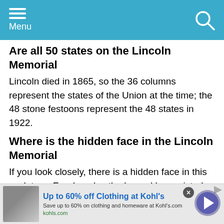Menu
Are all 50 states on the Lincoln Memorial
Lincoln died in 1865, so the 36 columns represent the states of the Union at the time; the 48 stone festoons represent the 48 states in 1922.
Where is the hidden face in the Lincoln Memorial
If you look closely, there is a hidden face in this sculpture. For decades the legend has existed ever since a person noticed his back from behind while staring at a certain side angle. People now notice
[Figure (screenshot): Advertisement banner: Up to 60% off Clothing at Kohl's. Save up to 60% on clothing and homeware at Kohl's.com. kohls.com. With a forward arrow button on the right.]